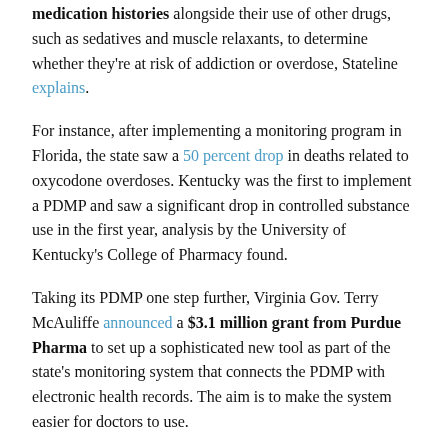medication histories alongside their use of other drugs, such as sedatives and muscle relaxants, to determine whether they're at risk of addiction or overdose, Stateline explains.
For instance, after implementing a monitoring program in Florida, the state saw a 50 percent drop in deaths related to oxycodone overdoses. Kentucky was the first to implement a PDMP and saw a significant drop in controlled substance use in the first year, analysis by the University of Kentucky's College of Pharmacy found.
Taking its PDMP one step further, Virginia Gov. Terry McAuliffe announced a $3.1 million grant from Purdue Pharma to set up a sophisticated new tool as part of the state's monitoring system that connects the PDMP with electronic health records. The aim is to make the system easier for doctors to use.
The Bayview Physicians Group in Tidewater, Va., is the first